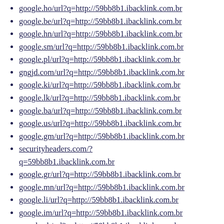google.ho/url?q=http://59bb8b1.ibacklink.com.br
google.be/url?q=http://59bb8b1.ibacklink.com.br
google.hn/url?q=http://59bb8b1.ibacklink.com.br
google.sm/url?q=http://59bb8b1.ibacklink.com.br
google.pl/url?q=http://59bb8b1.ibacklink.com.br
gngjd.com/url?q=http://59bb8b1.ibacklink.com.br
google.ki/url?q=http://59bb8b1.ibacklink.com.br
google.lk/url?q=http://59bb8b1.ibacklink.com.br
google.ba/url?q=http://59bb8b1.ibacklink.com.br
google.us/url?q=http://59bb8b1.ibacklink.com.br
google.gm/url?q=http://59bb8b1.ibacklink.com.br
securityheaders.com/?q=59bb8b1.ibacklink.com.br
google.gr/url?q=http://59bb8b1.ibacklink.com.br
google.mn/url?q=http://59bb8b1.ibacklink.com.br
google.li/url?q=http://59bb8b1.ibacklink.com.br
google.im/url?q=http://59bb8b1.ibacklink.com.br
google.sk/url?q=http://59bb8b1.ibacklink.com.br
google.cn/url?q=http://59bb8b1.ibacklink.com.br